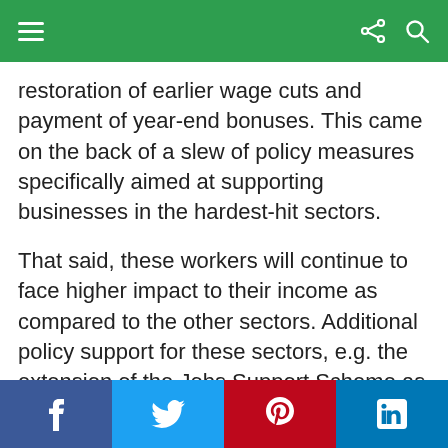Navigation bar with menu, share, and search icons
restoration of earlier wage cuts and payment of year-end bonuses. This came on the back of a slew of policy measures specifically aimed at supporting businesses in the hardest-hit sectors.
That said, these workers will continue to face higher impact to their income as compared to the other sectors. Additional policy support for these sectors, e.g. the extension of the Jobs Support Scheme as announced during Budget 2021, is warranted amid the grim outlook for the tourism-related clusters in the near-term.
Social sharing buttons: Facebook, Twitter, Pinterest, LinkedIn